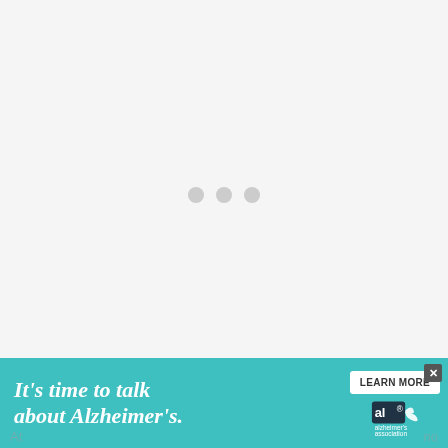[Figure (other): Loading state with three grey dots centered on a light grey background, indicating content is loading]
[Figure (other): Alzheimer's Association advertisement banner: teal background with italic white text 'It's time to talk about Alzheimer's.' with a Learn More button and the Alzheimer's Association logo with a close/X button]
At... no